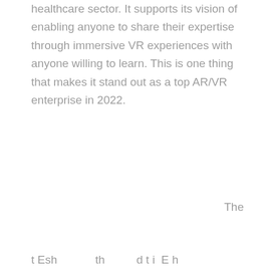healthcare sector. It supports its vision of enabling anyone to share their expertise through immersive VR experiences with anyone willing to learn. This is one thing that makes it stand out as a top AR/VR enterprise in 2022.
The
t Esh                    th          d t i  E h